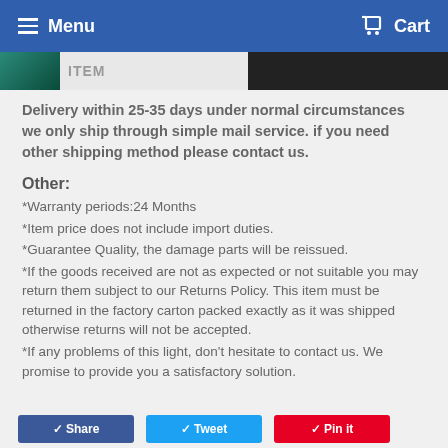Menu   Cart
Delivery within 25-35 days under normal circumstances we only ship through simple mail service. if you need other shipping method please contact us.
Other:
*Warranty periods:24 Months
*Item price does not include import duties.
*Guarantee Quality, the damage parts will be reissued.
*If the goods received are not as expected or not suitable you may return them subject to our Returns Policy. This item must be returned in the factory carton packed exactly as it was shipped otherwise returns will not be accepted.
*If any problems of this light, don't hesitate to contact us. We promise to provide you a satisfactory solution.